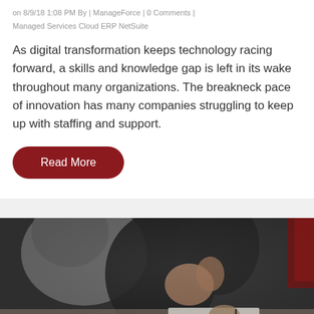on 8/9/18 1:08 PM By | ManageForce | 0 Comments |
Managed Services Cloud ERP NetSuite
As digital transformation keeps technology racing forward, a skills and knowledge gap is left in its wake throughout many organizations. The breakneck pace of innovation has many companies struggling to keep up with staffing and support.
Read More
[Figure (photo): Two people in a business meeting, one in a grey shirt gesturing with hands, the other writing on paper, viewed from behind/side angle, dark and moody lighting]